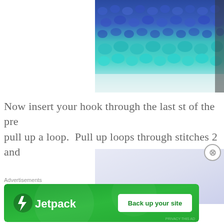[Figure (photo): Close-up of crochet stitches in blue and teal/turquoise yarn colors, showing textured crochet work]
Now insert your hook through the last st of the pre pull up a loop.  Pull up loops through stitches 2 and
[Figure (photo): Partially visible second crochet tutorial photo with light lavender/blue background]
Advertisements
[Figure (screenshot): Jetpack advertisement banner with green background showing Jetpack logo and 'Back up your site' button]